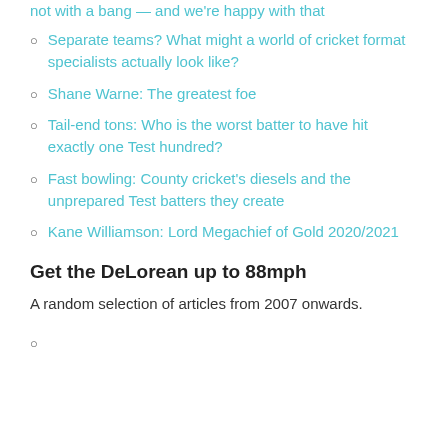not with a bang — and we're happy with that
Separate teams? What might a world of cricket format specialists actually look like?
Shane Warne: The greatest foe
Tail-end tons: Who is the worst batter to have hit exactly one Test hundred?
Fast bowling: County cricket's diesels and the unprepared Test batters they create
Kane Williamson: Lord Megachief of Gold 2020/2021
Get the DeLorean up to 88mph
A random selection of articles from 2007 onwards.